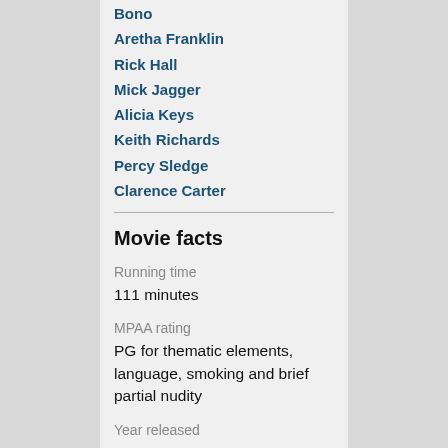Bono
Aretha Franklin
Rick Hall
Mick Jagger
Alicia Keys
Keith Richards
Percy Sledge
Clarence Carter
Movie facts
Running time
111 minutes
MPAA rating
PG for thematic elements, language, smoking and brief partial nudity
Year released
2013
Showtimes